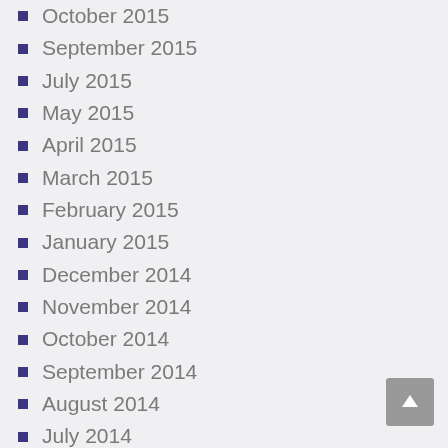October 2015
September 2015
July 2015
May 2015
April 2015
March 2015
February 2015
January 2015
December 2014
November 2014
October 2014
September 2014
August 2014
July 2014
April 2014
March 2014
January 2014
December 2013